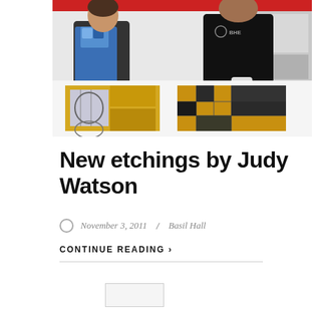[Figure (photo): Two people standing at a print-making table in a studio. Left person wears a blue patterned apron over a dark shirt; right person wears a black BHE-branded shirt and white gloves. On the table are large printed etchings with gold/yellow and blue-grey tones.]
New etchings by Judy Watson
November 3, 2011 / Basil Hall
CONTINUE READING >